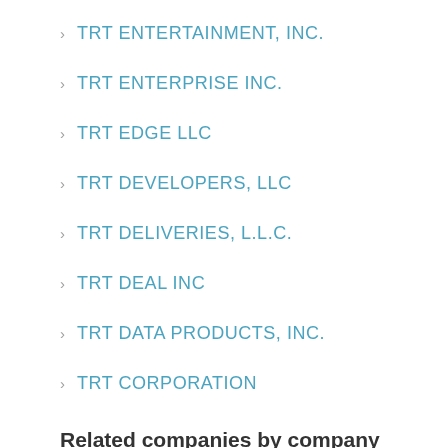TRT ENTERTAINMENT, INC.
TRT ENTERPRISE INC.
TRT EDGE LLC
TRT DEVELOPERS, LLC
TRT DELIVERIES, L.L.C.
TRT DEAL INC
TRT DATA PRODUCTS, INC.
TRT CORPORATION
Related companies by company number
COFFEY DESIGN LLC